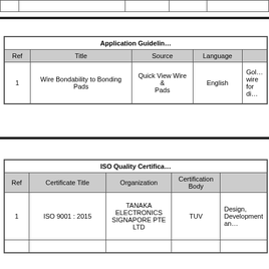| Ref | Title | Source | Language |  |
| --- | --- | --- | --- | --- |
|  |  |  |  |  |
| Application Guidelines |
| --- |
| Ref | Title | Source | Language |  |
| 1 | Wire Bondability to Bonding Pads | Quick View Wire & Pads | English | Gol... wire for di... |
| ISO Quality Certifica... |
| --- |
| Ref | Certificate Title | Organization | Certification Body |  |
| 1 | ISO 9001 : 2015 | TANAKA ELECTRONICS SIGNAPORE PTE LTD | TUV | Design, Development an... |
|  |  |  |  |  |